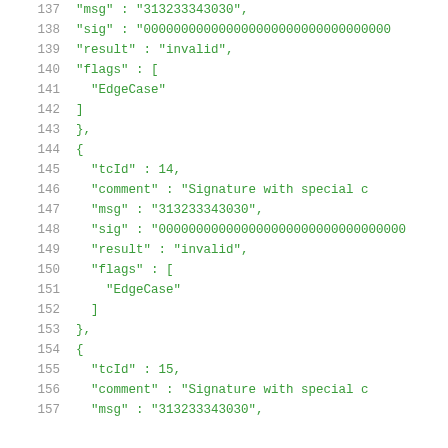137   "msg" : "313233343030",
138   "sig" : "00000000000000000000000000000000...
139   "result" : "invalid",
140   "flags" : [
141     "EdgeCase"
142   ]
143 },
144 {
145   "tcId" : 14,
146   "comment" : "Signature with special c...
147   "msg" : "313233343030",
148   "sig" : "00000000000000000000000000000000...
149   "result" : "invalid",
150   "flags" : [
151     "EdgeCase"
152   ]
153 },
154 {
155   "tcId" : 15,
156   "comment" : "Signature with special c...
157   "msg" : "313233343030",